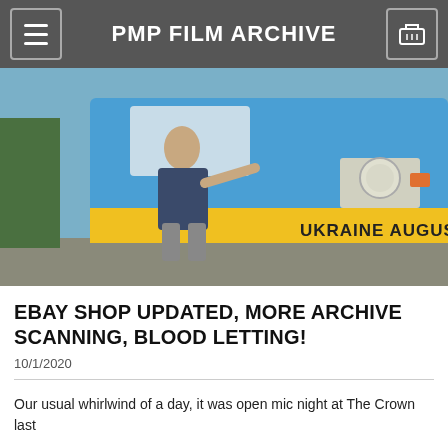PMP FILM ARCHIVE
[Figure (photo): Man standing in front of a blue and yellow trolleybus with text 'UKRAINE AUGUST 2019' on the front, outdoor setting.]
EBAY SHOP UPDATED, MORE ARCHIVE SCANNING, BLOOD LETTING!
10/1/2020
Our usual whirlwind of a day, it was open mic night at The Crown last